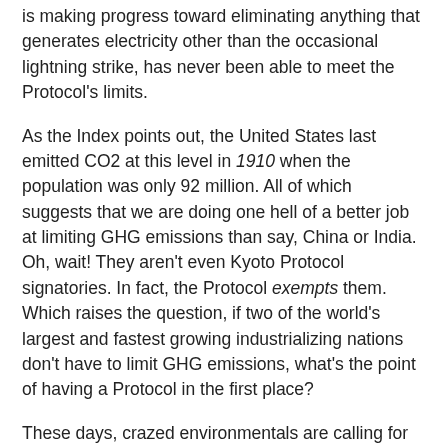is making progress toward eliminating anything that generates electricity other than the occasional lightning strike, has never been able to meet the Protocol's limits.
As the Index points out, the United States last emitted CO2 at this level in 1910 when the population was only 92 million. All of which suggests that we are doing one hell of a better job at limiting GHG emissions than say, China or India. Oh, wait! They aren't even Kyoto Protocol signatories. In fact, the Protocol exempts them. Which raises the question, if two of the world's largest and fastest growing industrializing nations don't have to limit GHG emissions, what's the point of having a Protocol in the first place?
These days, crazed environmentals are calling for an 80 percent reduction of GHG by 2050. What they don't tell you is that the only nations with emissions levels that low are appallingly poor. Don't like GHG emissions? Move to Haiti or Somalia.
So, come Earth Day, if you are a dedicated environmentalist, don't forget to get out there and wave your red flag with the